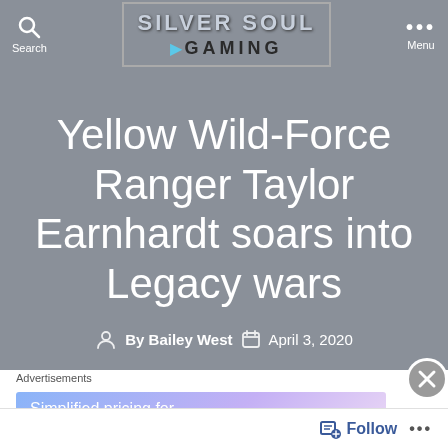Search | SILVER SOUL GAMING | Menu
[Figure (logo): Silver Soul Gaming logo with stylized metallic text and lightning bolt arrow icon inside a rectangular border]
Yellow Wild-Force Ranger Taylor Earnhardt soars into Legacy wars
By Bailey West  April 3, 2020
Advertisements  Simplified pricing for…